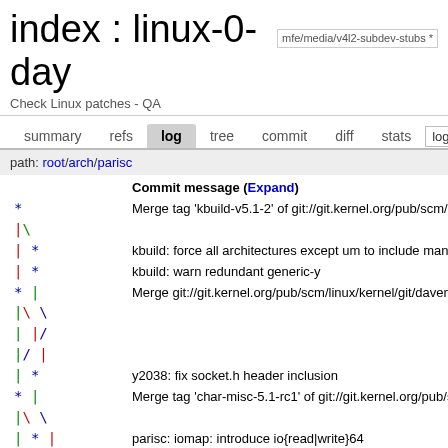index : linux-0-day  mfe/media/v4l2-subdev-stubs *
Check Linux patches - QA
summary  refs  log  tree  commit  diff  stats  log
path: root/arch/parisc
| graph | Commit message (Expand) |
| --- | --- |
| * | Merge tag 'kbuild-v5.1-2' of git://git.kernel.org/pub/scm/k... |
| |\ |  |
| | * | kbuild: force all architectures except um to include man... |
| | * | kbuild: warn redundant generic-y |
| * | | Merge git://git.kernel.org/pub/scm/linux/kernel/git/daven... |
| |\ \ |  |
| | |/ |  |
| |/ | |  |
| | * | y2038: fix socket.h header inclusion |
| * | | Merge tag 'char-misc-5.1-rc1' of git://git.kernel.org/pub/s... |
| |\ \ |  |
| | * | | parisc: iomap: introduce io{read|write}64 |
| * | | | Merge tag 'asm-generic-5.1' of git://git.kernel.org/pub/sc... |
| |\ \ \ |  |
| | * | | | arch: move common mmap flags to linux/mman.h |